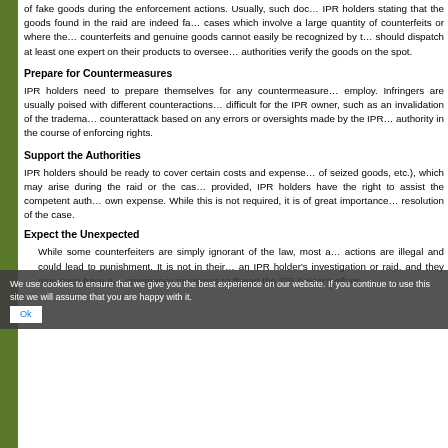of fake goods during the enforcement actions. Usually, such documents are obtained from IPR holders stating that the goods found in the raid are indeed fake. In cases which involve a large quantity of counterfeits or where the difference between counterfeits and genuine goods cannot easily be recognized by the authorities, IPR holders should dispatch at least one expert on their products to oversee and help the authorities verify the goods on the spot.
Prepare for Countermeasures
IPR holders need to prepare themselves for any countermeasures that infringers may employ. Infringers are usually poised with different counteractions to make it difficult for the IPR owner, such as an invalidation of the trademark registration, a counterattack based on any errors or oversights made by the IPR holder or the authority in the course of enforcing rights.
Support the Authorities
IPR holders should be ready to cover certain costs and expenses (e.g., storage of seized goods, etc.), which may arise during the raid or the case. Where provided, IPR holders have the right to assist the competent authorities at their own expense. While this is not required, it is of great importance to the swift resolution of the case.
Expect the Unexpected
While some counterfeiters are simply ignorant of the law, most are aware that their actions are illegal and could lead to punishment. It is not in their interest to allow an IPR holder's investigation or raid, and they may even have adopted emergency measures to thwart the IPR holder's efforts.